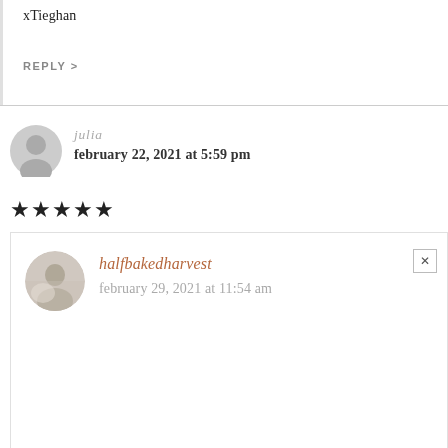xTieghan
REPLY >
julia
february 22, 2021 at 5:59 pm
★★★★★ SO GOOD!! This is the perfect week night meal! quick and easy!!!!
REPLY >
halfbakedharvest
february 29, 2021 at 11:54 am